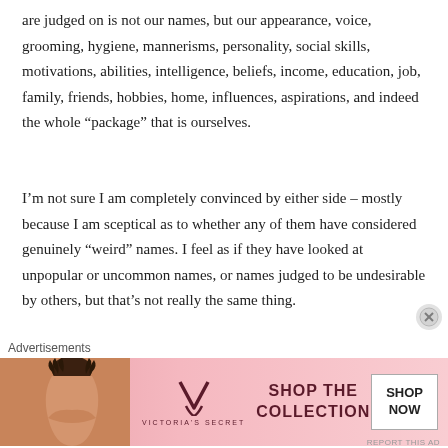are judged on is not our names, but our appearance, voice, grooming, hygiene, mannerisms, personality, social skills, motivations, abilities, intelligence, beliefs, income, education, job, family, friends, hobbies, home, influences, aspirations, and indeed the whole “package” that is ourselves.
I’m not sure I am completely convinced by either side – mostly because I am sceptical as to whether any of them have considered genuinely “weirdd” names. I feel as if they have looked at unpopular or uncommon names, or names judged to be undesirable by others, but that’s not really the same thing.
I mean come on, how sheltered must your life be to
Advertisements
[Figure (other): Victoria's Secret advertisement banner with a model, VS logo, 'SHOP THE COLLECTION' text, and a 'SHOP NOW' button]